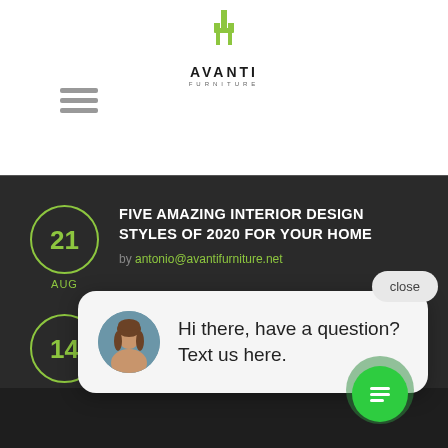[Figure (logo): Avanti Furniture logo with green chair icon above text AVANTI FURNITURE]
[Figure (illustration): Hamburger menu icon (three horizontal lines) at top left]
FIVE AMAZING INTERIOR DESIGN STYLES OF 2020 FOR YOUR HOME
by antonio@avantifurniture.net
HOW TO CREATE A CALMING SPACE AT HOME
by antonio@avantifurniture.net
[Figure (screenshot): Chat popup widget with avatar of a woman, message 'Hi there, have a question? Text us here.' and a close button. Green chat bubble icon at bottom right.]